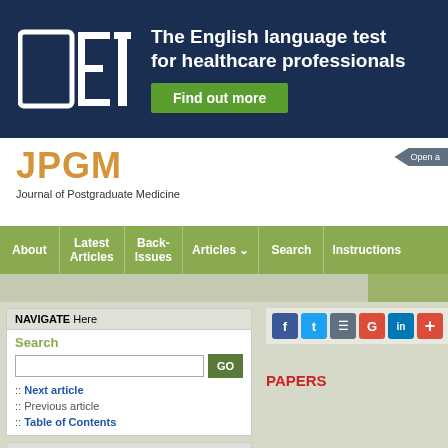[Figure (logo): OET logo and banner: The English language test for healthcare professionals with Find out more button]
JPGM
Journal of Postgraduate Medicine
About | Latest Articles | Back-Issues | Articles | Search | Instructions
NAVIGATE Here
Search
:: Next article
:: Previous article
:: Table of Contents
RESOURCE Links
:: Similar in PUBMED
:: Search Pubmed for
Jadhav A P
PAPERS